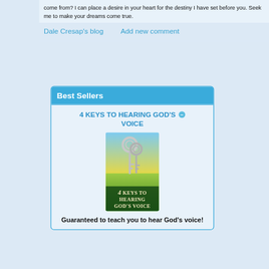come from? I can place a desire in your heart for the destiny I have set before you. Seek me to make your dreams come true.
Dale Cresap's blog    Add new comment
Best Sellers
4 KEYS TO HEARING GOD'S VOICE
[Figure (photo): Book cover of '4 Keys to Hearing God's Voice' showing silver keys against a bright sky with green field below]
Guaranteed to teach you to hear God's voice!